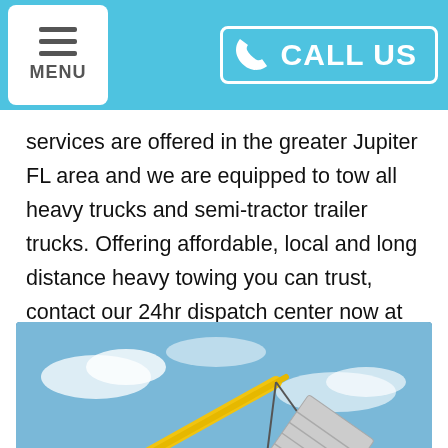MENU | CALL US
services are offered in the greater Jupiter FL area and we are equipped to tow all heavy trucks and semi-tractor trailer trucks. Offering affordable, local and long distance heavy towing you can trust, contact our 24hr dispatch center now at 888-468-0767.
[Figure (photo): A large crane/recovery truck with a yellow boom arm lifting a silver dump truck trailer that is overturned or tipped over in an open field, with blue sky in the background.]
Our heavy duty towing services include...